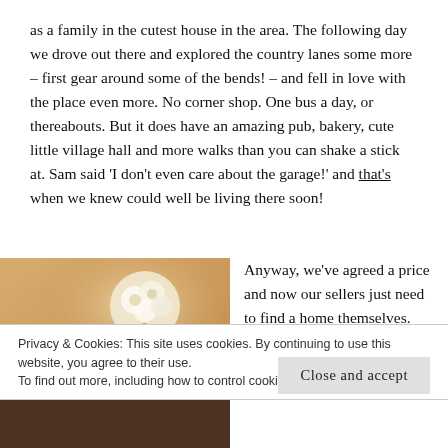as a family in the cutest house in the area. The following day we drove out there and explored the country lanes some more – first gear around some of the bends! – and fell in love with the place even more. No corner shop. One bus a day, or thereabouts. But it does have an amazing pub, bakery, cute little village hall and more walks than you can shake a stick at. Sam said 'I don't even care about the garage!' and that's when we knew could well be living there soon!
[Figure (photo): Warm-toned photo of rolled towels and white flowers in soft focus]
Anyway, we've agreed a price and now our sellers just need to find a home themselves. Fingers crossed we'll be in by
Privacy & Cookies: This site uses cookies. By continuing to use this website, you agree to their use.
To find out more, including how to control cookies, see here: Cookie Policy
Close and accept
[Figure (photo): Partial photo visible at the bottom of the page]